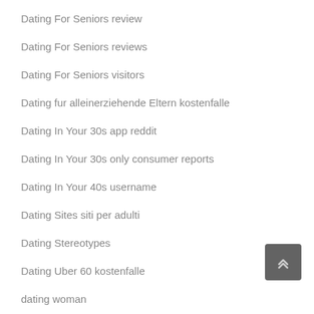Dating For Seniors review
Dating For Seniors reviews
Dating For Seniors visitors
Dating fur alleinerziehende Eltern kostenfalle
Dating In Your 30s app reddit
Dating In Your 30s only consumer reports
Dating In Your 40s username
Dating Sites siti per adulti
Dating Stereotypes
Dating Uber 60 kostenfalle
dating woman
dating-apps-de visitors